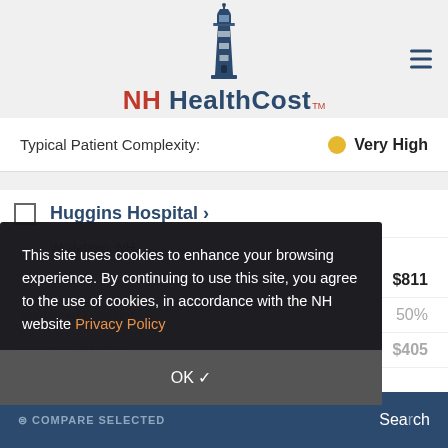NH HealthCost
Typical Patient Complexity:  Very High
Huggins Hospital >
Wolfeboro, NH
$811
Uninsured Discount: 50%
What You Will Pay: $405
This site uses cookies to enhance your browsing experience. By continuing to use this site, you agree to the use of cookies, in accordance with the NH website Privacy Policy
OK ✓
COMPARE SELECTED    Search